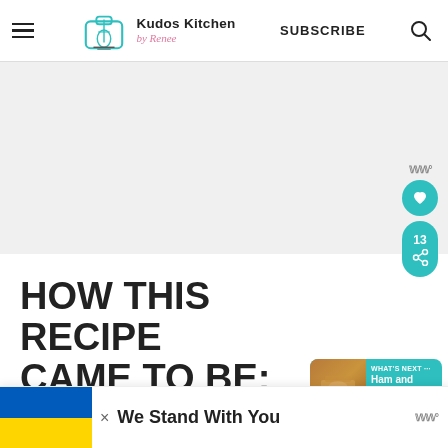Kudos Kitchen by Renee — SUBSCRIBE
[Figure (screenshot): Large gray image placeholder area]
HOW THIS RECIPE CAME TO BE:
[Figure (screenshot): Side social bar with Pinterest icon, heart save button, and share/pin button showing 13 pins]
[Figure (screenshot): Notification bubble showing Ham and Cheese Strata]
We were having some of our fr
[Figure (infographic): Bottom banner: Ukraine flag (blue and yellow), We Stand With You text, close button]